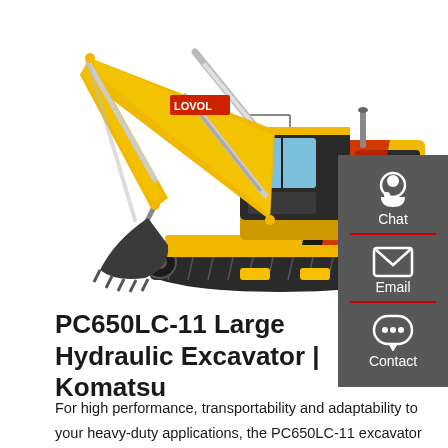[Figure (photo): Yellow LOVOL/FR200E hydraulic excavator on white background, showing the full machine with boom, arm, bucket extended, and crawler tracks]
[Figure (infographic): Dark grey sidebar with Chat (headset icon), Email (envelope icon), and Contact (speech bubble with dots icon) buttons separated by red dividers]
PC650LC-11 Large Hydraulic Excavator | Komatsu
For high performance, transportability and adaptability to your heavy-duty applications, the PC650LC-11 excavator has a dual swing motor and three arm lengths. Your operator will appreciate the comfortable, climate-controlled cab and your